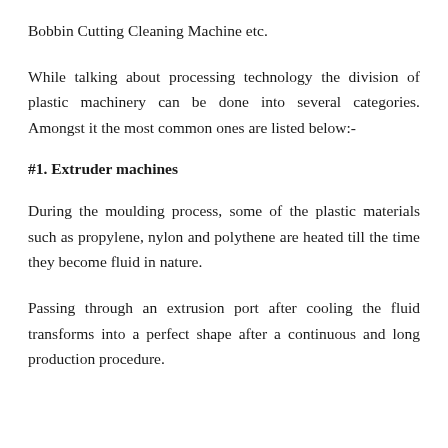Bobbin Cutting Cleaning Machine etc.
While talking about processing technology the division of plastic machinery can be done into several categories. Amongst it the most common ones are listed below:-
#1. Extruder machines
During the moulding process, some of the plastic materials such as propylene, nylon and polythene are heated till the time they become fluid in nature.
Passing through an extrusion port after cooling the fluid transforms into a perfect shape after a continuous and long production procedure.